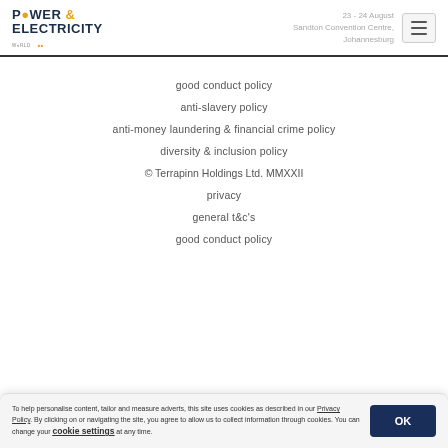POWER & ELECTRICITY WORLD | 23 - 24 August | Sandton Convention Centre, Johannesburg
good conduct policy
anti-slavery policy
anti-money laundering & financial crime policy
diversity & inclusion policy
© Terrapinn Holdings Ltd. MMXXII
privacy
general t&c's
good conduct policy
To help personalise content, tailor and measure adverts, this site uses cookies as described in our Privacy Policy. By clicking on or navigating the site, you agree to allow us to collect information through cookies. You can change your cookie settings at any time.